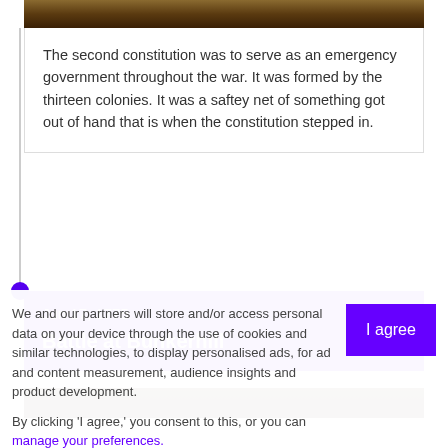[Figure (photo): Top portion of a photo showing an animal/natural scene, partially visible at the top of the timeline card]
The second constitution was to serve as an emergency government throughout the war. It was formed by the thirteen colonies. It was a saftey net of something got out of hand that is when the constitution stepped in.
Jun 17, 1775
Battle at Bunkerhill
[Figure (photo): Bottom portion of a dark photo partially visible below the Battle at Bunkerhill event card]
We and our partners will store and/or access personal data on your device through the use of cookies and similar technologies, to display personalised ads, for ad and content measurement, audience insights and product development.

By clicking 'I agree,' you consent to this, or you can manage your preferences.